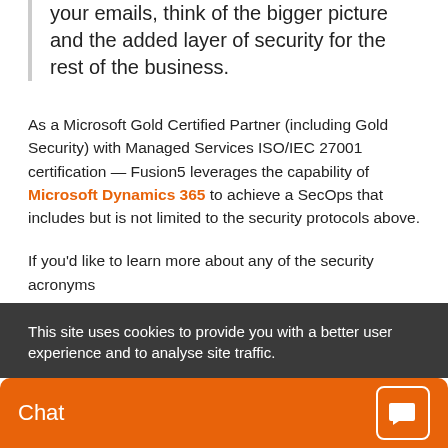your emails, think of the bigger picture and the added layer of security for the rest of the business.
As a Microsoft Gold Certified Partner (including Gold Security) with Managed Services ISO/IEC 27001 certification — Fusion5 leverages the capability of Microsoft Dynamics 365 to achieve a SecOps that includes but is not limited to the security protocols above.
If you'd like to learn more about any of the security acronyms
This site uses cookies to provide you with a better user experience and to analyse site traffic.
Chat